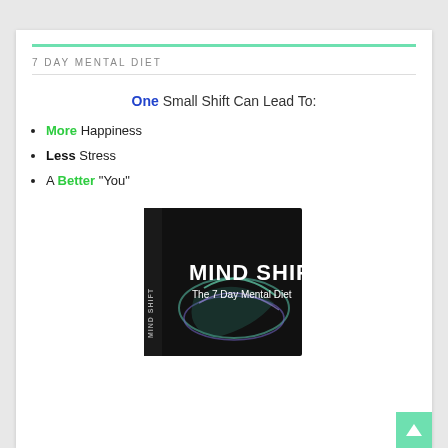7 DAY MENTAL DIET
One Small Shift Can Lead To:
More Happiness
Less Stress
A Better "You"
[Figure (photo): Book cover of 'MIND SHIFT: The 7 Day Mental Diet' — black cover with colorful swirling smoke/light design and the title in white bold text]